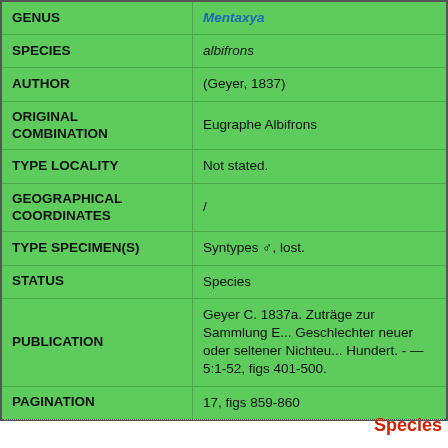| Field | Value |
| --- | --- |
| GENUS | Mentaxya |
| SPECIES | albifrons |
| AUTHOR | (Geyer, 1837) |
| ORIGINAL COMBINATION | Eugraphe Albifrons |
| TYPE LOCALITY | Not stated. |
| GEOGRAPHICAL COORDINATES | / |
| TYPE SPECIMEN(S) | Syntypes ♂, lost. |
| STATUS | Species |
| PUBLICATION | Geyer C. 1837a. Zuträge zur Sammlung Exotischer Schmetterlinge = Beiträge zur Kenntnis Ausländischer und Seltener Vaterländischer Schmetterlinge. Augsburg, Brodtmann. Geschlechter neuer oder seltener Nichteuropäischer Schmetterlinge. Hundert. - — 5:1-52, figs 401-500. |
| PAGINATION | 17, figs 859-860 |
Species